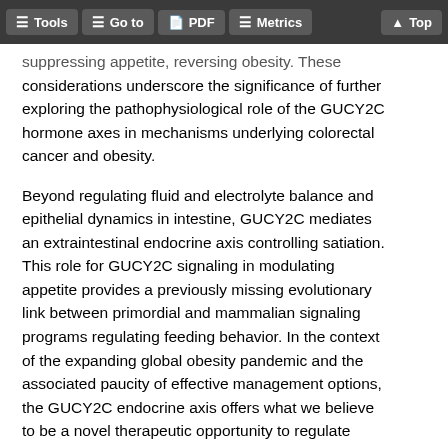Tools | Go to | PDF | Metrics | Top
suppressing appetite, reversing obesity. These considerations underscore the significance of further exploring the pathophysiological role of the GUCY2C hormone axes in mechanisms underlying colorectal cancer and obesity.
Beyond regulating fluid and electrolyte balance and epithelial dynamics in intestine, GUCY2C mediates an extraintestinal endocrine axis controlling satiation. This role for GUCY2C signaling in modulating appetite provides a previously missing evolutionary link between primordial and mammalian signaling programs regulating feeding behavior. In the context of the expanding global obesity pandemic and the associated paucity of effective management options, the GUCY2C endocrine axis offers what we believe to be a novel therapeutic opportunity to regulate